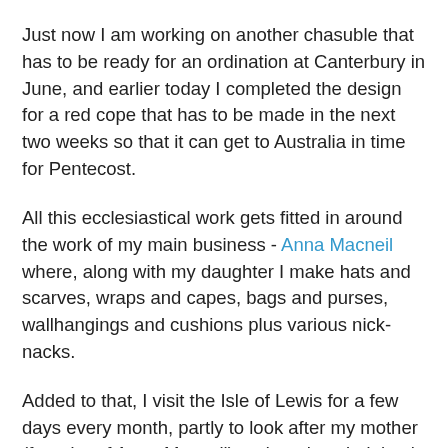Just now I am working on another chasuble that has to be ready for an ordination at Canterbury in June, and earlier today I completed the design for a red cope that has to be made in the next two weeks so that it can get to Australia in time for Pentecost.
All this ecclesiastical work gets fitted in around the work of my main business - Anna Macneil where, along with my daughter I make hats and scarves, wraps and capes, bags and purses, wallhangings and cushions plus various nick-nacks.
Added to that, I visit the Isle of Lewis for a few days every month, partly to look after my mother (founder of Anna Macneil) and partly to indulge in one of my other interests - weaving.  I have an old Hattersley loom set up in my mother's garage and when I am on the island I weave Harris Tweed.  I have just come back from a recent visit having woven about 30 metres of tweed.  There is still another 20 metres of warp on the beam and that will get woven on my next visit.  The warp is a mix of pale greys with cream and